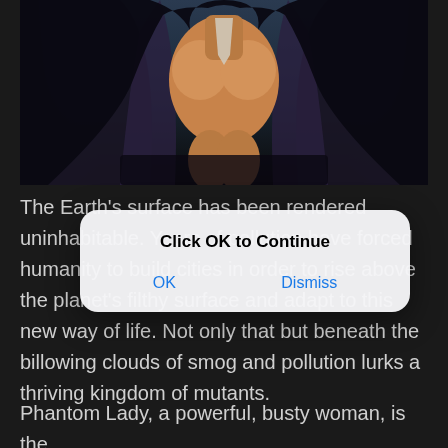[Figure (illustration): Anime screenshot showing a dark-cloaked busty female character seated, viewed from front, dark blue/purple tones]
The Earth's surface has been rendered uninhabitable. Years of pollution have forced humanity to build cities in order to rise above the planet's filthy surface and adapt to this new way of life. Not only that but beneath the billowing clouds of smog and pollution lurks a thriving kingdom of mutants.
[Figure (screenshot): iOS-style dialog box with title 'Click OK to Continue' and two buttons: OK and Dismiss]
Phantom Lady, a powerful, busty woman, is the